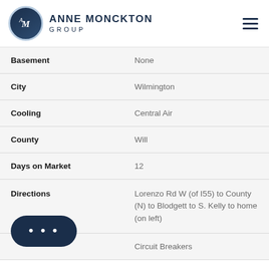ANNE MONCKTON GROUP
| Field | Value |
| --- | --- |
| Basement | None |
| City | Wilmington |
| Cooling | Central Air |
| County | Will |
| Days on Market | 12 |
| Directions | Lorenzo Rd W (of I55) to County (N) to Blodgett to S. Kelly to home (on left) |
|  | Circuit Breakers |